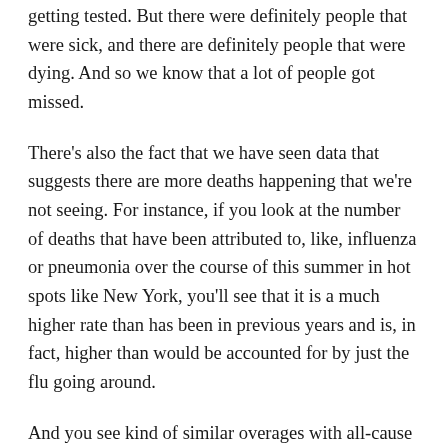getting tested. But there were definitely people that were sick, and there are definitely people that were dying. And so we know that a lot of people got missed.
There's also the fact that we have seen data that suggests there are more deaths happening that we're not seeing. For instance, if you look at the number of deaths that have been attributed to, like, influenza or pneumonia over the course of this summer in hot spots like New York, you'll see that it is a much higher rate than has been in previous years and is, in fact, higher than would be accounted for by just the flu going around.
And you see kind of similar overages with all-cause death. So looking at, like, death from every cause, no matter what it is, is also much higher than it has been in previous years. So we can make some assumptions based on that that there are